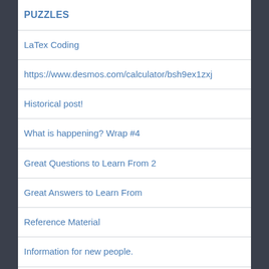PUZZLES
LaTex Coding
https://www.desmos.com/calculator/bsh9ex1zxj
Historical post!
What is happening? Wrap #4
Great Questions to Learn From 2
Great Answers to Learn From
Reference Material
Information for new people.